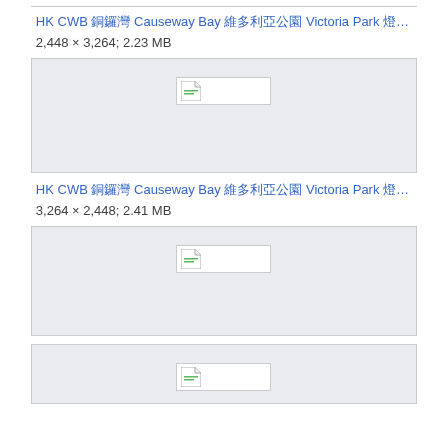[Figure (screenshot): Broken image placeholder in a light gray box with border]
HK CWB 銅鑼灣 Causeway Bay 維多利亞公園 Victoria Park 燈光音樂匯演 HKB…
2,448 × 3,264; 2.23 MB
[Figure (screenshot): Broken image placeholder in a light gray box with border]
HK CWB 銅鑼灣 Causeway Bay 維多利亞公園 Victoria Park 燈光音樂匯演 HKB…
3,264 × 2,448; 2.41 MB
[Figure (screenshot): Broken image placeholder in a light gray box with border]